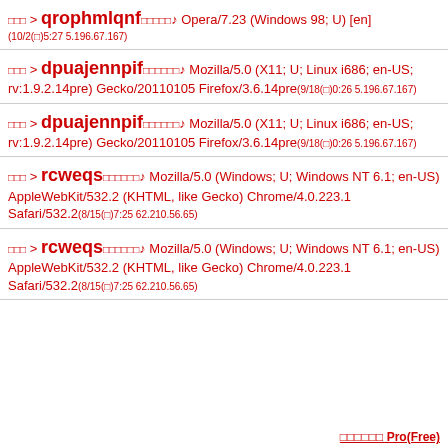□□□ > qrophmlqnf□□□□□♪ Opera/7.23 (Windows 98; U) [en] (10/2(□)5:27 5.196.67.167)
□□□ > dpuajennpif□□□□□□♪ Mozilla/5.0 (X11; U; Linux i686; en-US; rv:1.9.2.14pre) Gecko/20110105 Firefox/3.6.14pre(9/18(□)0:26 5.196.67.167)
□□□ > dpuajennpif□□□□□□♪ Mozilla/5.0 (X11; U; Linux i686; en-US; rv:1.9.2.14pre) Gecko/20110105 Firefox/3.6.14pre(9/18(□)0:26 5.196.67.167)
□□□ > rcweqs□□□□□□♪ Mozilla/5.0 (Windows; U; Windows NT 6.1; en-US) AppleWebKit/532.2 (KHTML, like Gecko) Chrome/4.0.223.1 Safari/532.2(8/15(□)7:25 62.210.56.65)
□□□ > rcweqs□□□□□□♪ Mozilla/5.0 (Windows; U; Windows NT 6.1; en-US) AppleWebKit/532.2 (KHTML, like Gecko) Chrome/4.0.223.1 Safari/532.2(8/15(□)7:25 62.210.56.65)
□□□□□□ Pro(Free)